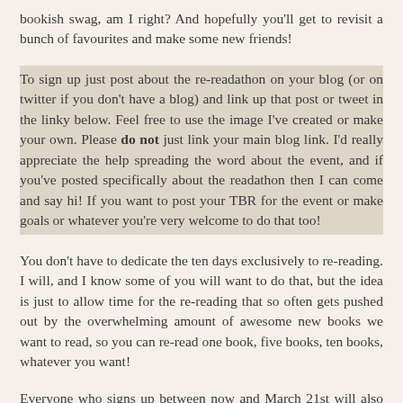bookish swag, am I right? And hopefully you'll get to revisit a bunch of favourites and make some new friends!
To sign up just post about the re-readathon on your blog (or on twitter if you don't have a blog) and link up that post or tweet in the linky below. Feel free to use the image I've created or make your own. Please do not just link your main blog link. I'd really appreciate the help spreading the word about the event, and if you've posted specifically about the readathon then I can come and say hi! If you want to post your TBR for the event or make goals or whatever you're very welcome to do that too!
You don't have to dedicate the ten days exclusively to re-reading. I will, and I know some of you will want to do that, but the idea is just to allow time for the re-reading that so often gets pushed out by the overwhelming amount of awesome new books we want to read, so you can re-read one book, five books, ten books, whatever you want!
Everyone who signs up between now and March 21st will also be entered into a giveaway to win a book of their choice